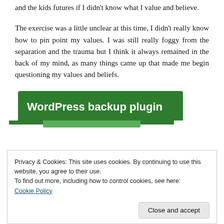and the kids futures if I didn't know what I value and believe.
The exercise was a little unclear at this time, I didn't really know how to pin point my values. I was still really foggy from the separation and the trauma but I think it always remained in the back of my mind, as many things came up that made me begin questioning my values and beliefs.
[Figure (screenshot): Green advertisement banner for WordPress backup plugin]
Privacy & Cookies: This site uses cookies. By continuing to use this website, you agree to their use.
To find out more, including how to control cookies, see here:
Cookie Policy
Close and accept